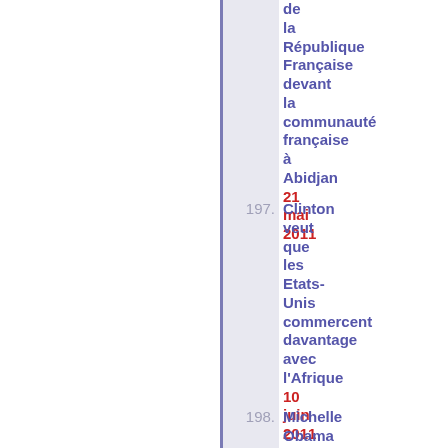de la République Française devant la communauté française à Abidjan 21 mai 2011
197. Clinton veut que les Etats-Unis commercent davantage avec l'Afrique 10 juin 2011
198. Michelle Obama